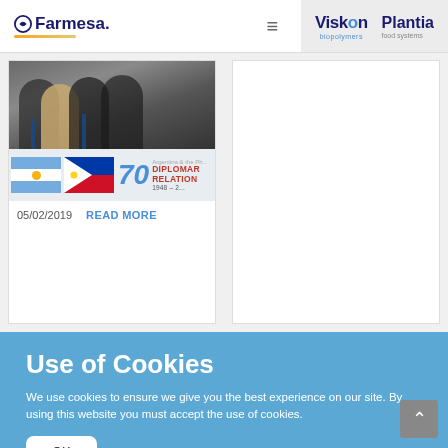Farmesa | Viskon biopolymers | Plantia food systems
[Figure (photo): News card showing group photo of people and Argentine-Philippines 70 years diplomatic relations banner, dated 05/02/2019 with READ MORE link]
Use of Cookies
We use cookies to ensure we give you the best experience on our site. By using this website you must accept the use of cookies.
OK